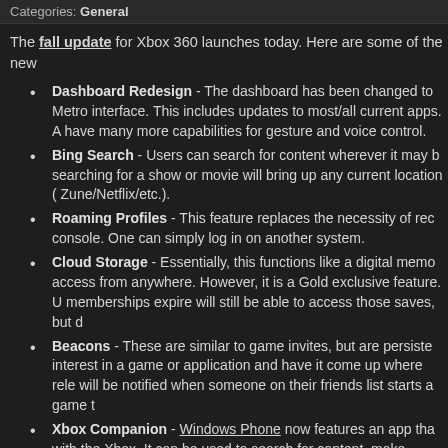Categories: General
The fall update for Xbox 360 launches today. Here are some of the new
Dashboard Redesign - The dashboard has been changed to Metro interface. This includes updates to most/all current apps. A have many more capabilities for gesture and voice control.
Bing Search - Users can search for content wherever it may be, searching for a show or movie will bring up any current location (Zune/Netflix/etc.).
Roaming Profiles - This feature replaces the necessity of rec console. One can simply log in on another system.
Cloud Storage - Essentially, this functions like a digital memo access from anywhere. However, it is a Gold exclusive feature. U memberships expire will still be able to access those saves, but d
Beacons - These are similar to game invites, but are persiste interest in a game or application and have it come up where rele will be notified when someone on their friends list starts a game t
Xbox Companion - Windows Phone now features an app tha with the Xbox. It can be used to search for content, make purcha and even control the system to a degree.
In addition to the update, a large number of entertainment applications a link for all the various apps for different countries and their estimated re of them do require a Gold account to use, although this doesn't appear